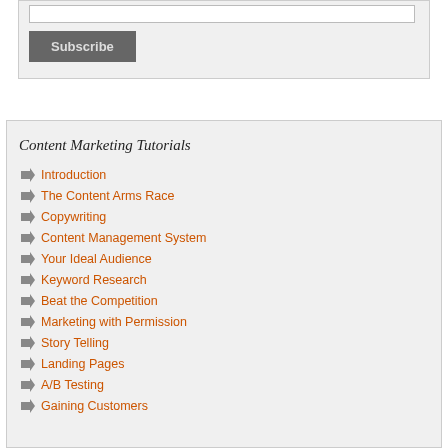[Figure (screenshot): Subscribe input field and button UI element]
Content Marketing Tutorials
Introduction
The Content Arms Race
Copywriting
Content Management System
Your Ideal Audience
Keyword Research
Beat the Competition
Marketing with Permission
Story Telling
Landing Pages
A/B Testing
Gaining Customers